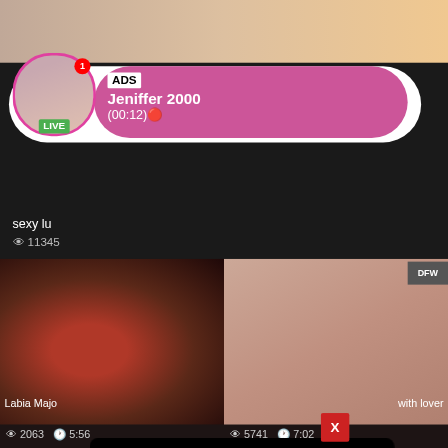[Figure (screenshot): Mobile website interface showing adult content thumbnails in background with notification overlay at top. An ad bubble shows a live stream notification for 'Jeniffer 2000' with timestamp (00:12), avatar with pink ring, LIVE badge, and red notification dot. Text 'sexy lu' and '11345 views' is visible. Below are two video thumbnails with metadata: 'Labia Majo' with 2063 views, 5:56 duration on left; 'with lover' with 5741 views, 7:02 duration on right.]
ADS
Jeniffer 2000
(00:12)🔴
LIVE
sexy lu
👁 11345
Labia Majo
👁 2063  🕐 5:56
with lover
👁 5741  🕐 7:02
X
Are you 18 or older?
NO
YES
Are you 18 or older?
NO
YES